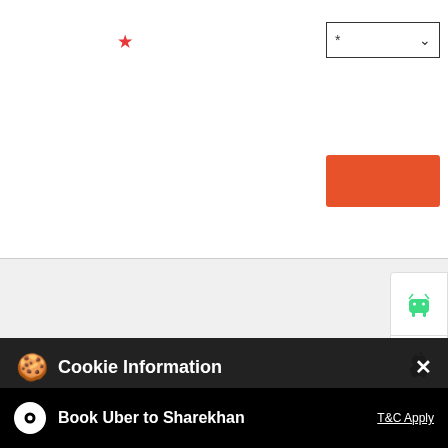[Figure (screenshot): Web form section with dropdown box containing asterisk and chevron, and an orange submit button. Red asterisk label to the left.]
[Figure (screenshot): Android and Apple app download buttons sidebar on the right.]
[Figure (screenshot): Dark preview bar partially visible behind cookie overlay.]
Cookie Information
On our website, we use services (including from third-party providers) that help us to improve our online presence (optimization of website) and to display content that is geared to their interests. We need your consent before being able to use these services.
Catch Kaustubh Pawaskar, Deputy Vice President, Fundamental ... am on ET Now Swadesh . A must-watch! #Sharekhan #StockMarkets #ShareMarket #Stocks #StocksToTrack #StocksToWatch #Trader #Trades #T...
Book Uber to Sharekhan
T&C Apply